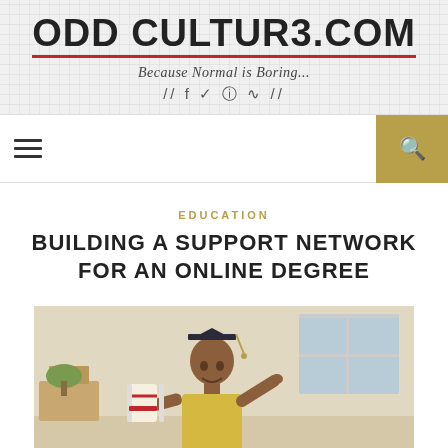ODD CULTURE.COM — Because Normal is Boring...
EDUCATION
BUILDING A SUPPORT NETWORK FOR AN ONLINE DEGREE
[Figure (photo): A man wearing a graduation cap and gown holding a diploma, smiling and pointing, indoors]